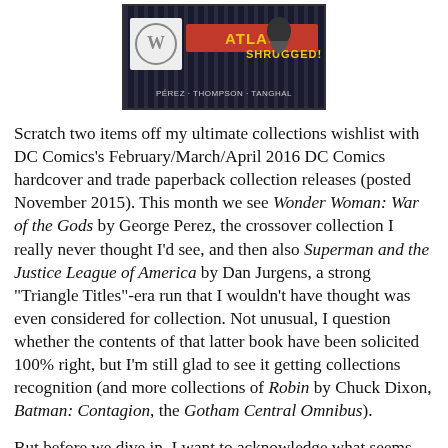[Figure (illustration): Comic book cover or promotional image for 'Atlas Shrugged!' featuring Wonder Woman logo and text 'PEREZ · THOMPSON · TANGHAL' on a dark striped background with a figure in action.]
Scratch two items off my ultimate collections wishlist with DC Comics's February/March/April 2016 DC Comics hardcover and trade paperback collection releases (posted November 2015). This month we see Wonder Woman: War of the Gods by George Perez, the crossover collection I really never thought I'd see, and then also Superman and the Justice League of America by Dan Jurgens, a strong "Triangle Titles"-era run that I wouldn't have thought was even considered for collection. Not unusual, I question whether the contents of that latter book have been solicited 100% right, but I'm still glad to see it getting collections recognition (and more collections of Robin by Chuck Dixon, Batman: Contagion, the Gotham Central Omnibus).
But before we dive in, I want to acknowledge what seems some really good news coming from DC this month, that Grayson's Tim Seeley is joining Suicide Squad and Action Comics's Greg Pak is joining Teen Titans. Seeley and Pak are two of DC's leading writers right now, and Suicide Squad and